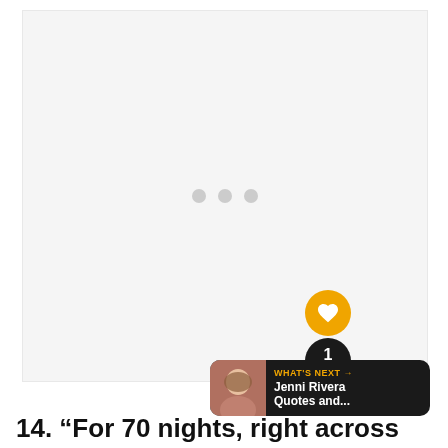[Figure (other): Large image placeholder area with loading spinner (three gray dots) centered in a light gray rectangle]
[Figure (other): UI overlay: orange heart button, black pill with count '1' and orange share button, and a 'WHAT'S NEXT' bar showing 'Jenni Rivera Quotes and...' with avatar]
14. “For 70 nights, right across